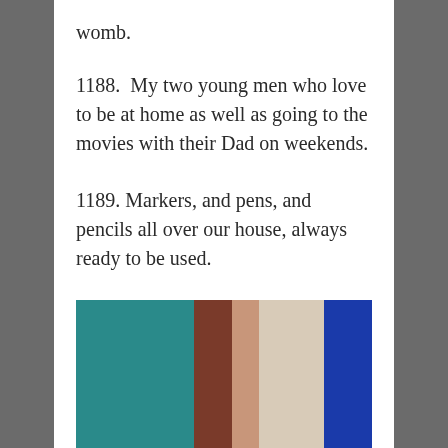womb.
1188.  My two young men who love to be at home as well as going to the movies with their Dad on weekends.
1189. Markers, and pens, and pencils all over our house, always ready to be used.
1190. Homemade Oreo Cookies! Yummy!
[Figure (photo): A close-up blurred photo showing teal, brown, skin, beige, and blue colors, likely cookies or food items]